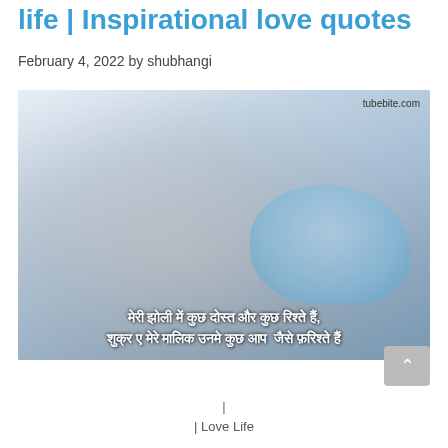life | Inspirational love quotes
February 4, 2022 by shubhangi
[Figure (photo): A young Asian woman in a light blue dress resting her chin on her hand, with Hindi text overlay reading: 'मेरी झोली में कुछ दोस्त और कुछ रिश्ते हैं, शुक्र ए मेरे मालिक उनमे कुछ आप जैसे फ़रिश्ते हैं'. Watermark: tubebite.com]
|
| Love Life